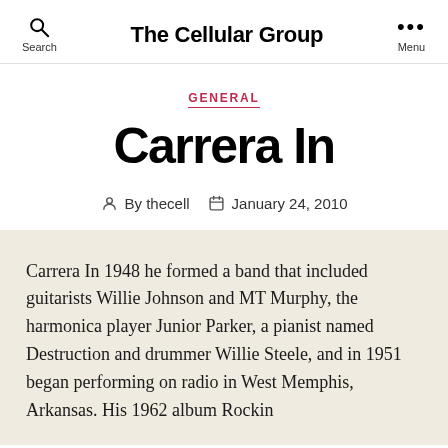The Cellular Group
GENERAL
Carrera In
By thecell  January 24, 2010
Carrera In 1948 he formed a band that included guitarists Willie Johnson and MT Murphy, the harmonica player Junior Parker, a pianist named Destruction and drummer Willie Steele, and in 1951 began performing on radio in West Memphis, Arkansas. His 1962 album Rockin